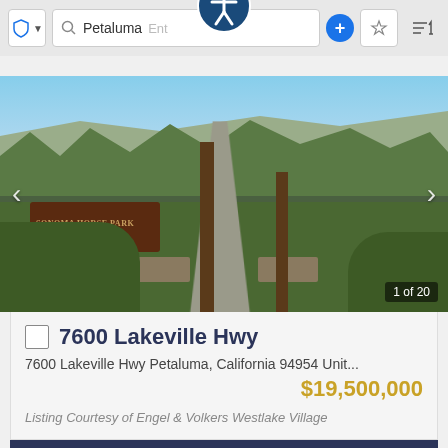[Figure (screenshot): Mobile browser navigation bar with shield icon, search field showing 'Petaluma', enter address field, plus button, star button, sort button, and an accessibility icon overlay in the center top]
[Figure (photo): Exterior photo of Sonoma Horse Park entrance with a driveway flanked by trees, stone walls, and a wooden sign reading 'Sonoma Horse Park'. Shows '1 of 20' counter in bottom right.]
7600 Lakeville Hwy
7600 Lakeville Hwy Petaluma, California 94954 Unit...
$19,500,000
Listing Courtesy of Engel & Volkers Westlake Village